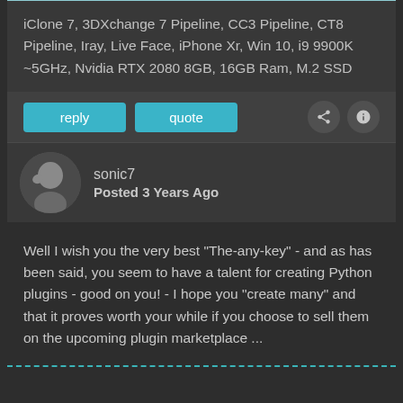iClone 7, 3DXchange 7 Pipeline, CC3 Pipeline, CT8 Pipeline, Iray, Live Face, iPhone Xr, Win 10, i9 9900K ~5GHz, Nvidia RTX 2080 8GB, 16GB Ram, M.2 SSD
reply  quote
sonic7
Posted 3 Years Ago
Well I wish you the very best "The-any-key" - and as has been said, you seem to have a talent for creating Python plugins - good on you! - I hope you "create many" and that it proves worth your while if you choose to sell them on the upcoming plugin marketplace ...